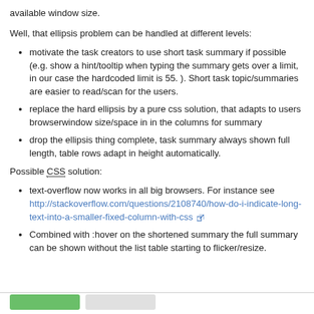available window size.
Well, that ellipsis problem can be handled at different levels:
motivate the task creators to use short task summary if possible (e.g. show a hint/tooltip when typing the summary gets over a limit, in our case the hardcoded limit is 55. ). Short task topic/summaries are easier to read/scan for the users.
replace the hard ellipsis by a pure css solution, that adapts to users browserwindow size/space in in the columns for summary
drop the ellipsis thing complete, task summary always shown full length, table rows adapt in height automatically.
Possible CSS solution:
text-overflow now works in all big browsers. For instance see http://stackoverflow.com/questions/2108740/how-do-i-indicate-long-text-into-a-smaller-fixed-column-with-css
Combined with :hover on the shortened summary the full summary can be shown without the list table starting to flicker/resize.